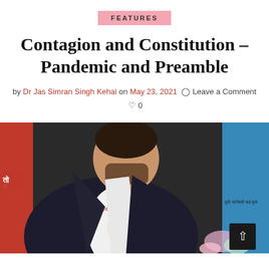FEATURES
Contagion and Constitution – Pandemic and Preamble
by Dr Jas Simran Singh Kehal on May 23, 2021  Leave a Comment  0
[Figure (photo): A young man wearing a black blazer over a white t-shirt featuring a print of Dr. B.R. Ambedkar with text 'e because He', standing in front of colorful banners with text in Hindi/Marathi. Flowers visible in the background right.]